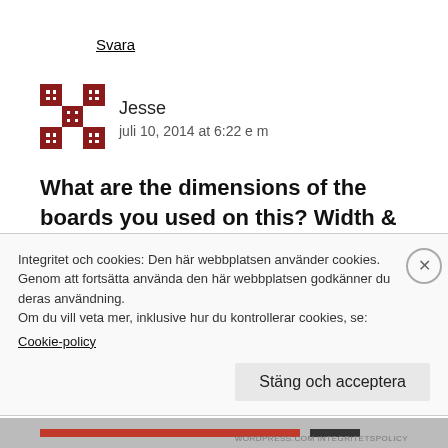Svara
[Figure (illustration): Pixel art avatar icon for user Jesse — dark red/maroon geometric pattern on white background]
Jesse
juli 10, 2014 at 6:22 e m
What are the dimensions of the boards you used on this? Width & height wise, im just trying to get a feel for the size of this thing.
Integritet och cookies: Den här webbplatsen använder cookies. Genom att fortsätta använda den här webbplatsen godkänner du deras användning.
Om du vill veta mer, inklusive hur du kontrollerar cookies, se: Cookie-policy
Stäng och acceptera